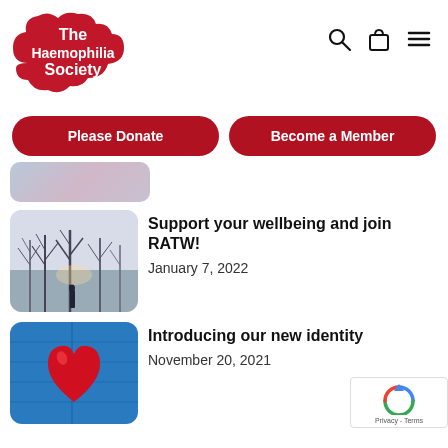[Figure (logo): The Haemophilia Society logo — red cloud-shaped background with white bold text reading 'The Haemophilia Society']
[Figure (other): Navigation icons: search magnifier, shopping bag, and hamburger menu lines]
[Figure (other): Two red rounded-rectangle CTA buttons: 'Please Donate' and 'Become a Member']
[Figure (photo): Partial cropped image strip at top of article thumbnail area]
[Figure (photo): Thumbnail photo of bare winter trees against a pale sky with a silhouetted person]
Support your wellbeing and join RATW!
January 7, 2022
[Figure (photo): Thumbnail photo of a large red heart painted on blue wooden doors/gates]
Introducing our new identity
November 20, 2021
[Figure (other): Google reCAPTCHA badge showing rotating arrows icon with 'Privacy - Terms' text]